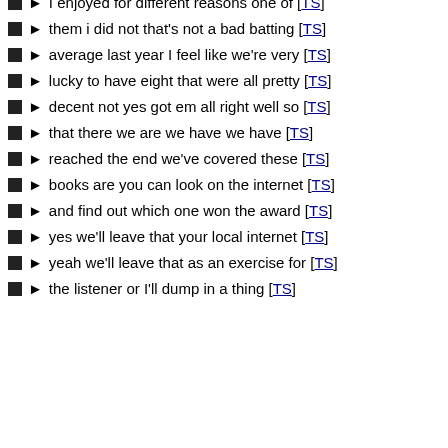I enjoyed for different reasons one of [TS]
them i did not that's not a bad batting [TS]
average last year I feel like we're very [TS]
lucky to have eight that were all pretty [TS]
decent not yes got em all right well so [TS]
that there we are we have we have [TS]
reached the end we've covered these [TS]
books are you can look on the internet [TS]
and find out which one won the award [TS]
yes we'll leave that your local internet [TS]
yeah we'll leave that as an exercise for [TS]
the listener or I'll dump in a thing [TS]